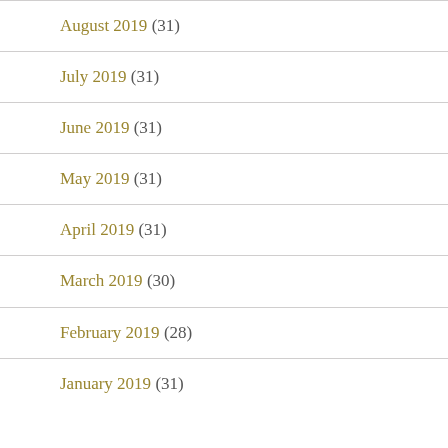August 2019 (31)
July 2019 (31)
June 2019 (31)
May 2019 (31)
April 2019 (31)
March 2019 (30)
February 2019 (28)
January 2019 (31)